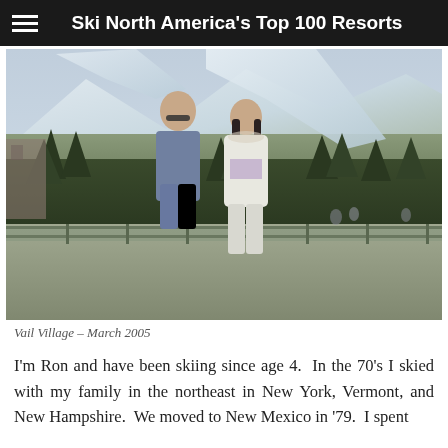Ski North America's Top 100 Resorts
[Figure (photo): Two people standing on an outdoor deck/balcony with a snow-covered ski mountain and evergreen trees in the background. The man on the left wears sunglasses and a grey jacket; the woman on the right wears a white winter jacket. Ski slopes are visible in the upper background.]
Vail Village – March 2005
I'm Ron and have been skiing since age 4.  In the 70's I skied with my family in the northeast in New York, Vermont, and New Hampshire.  We moved to New Mexico in '79.  I spent…